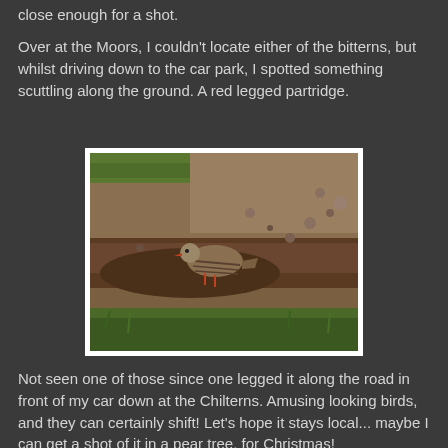close enough for a shot.
Over at the Moors, I couldn’t locate either of the bitterns, but whilst driving down to the car park, I spotted something scuttling along the ground. A red legged partridge.
[Figure (photo): A red-legged partridge bird on the ground, with soil and green grass visible, in a natural outdoor setting.]
Not seen one of those since one legged it along the road in front of my car down at the Chilterns. Amusing looking birds, and they can certainly shift! Let’s hope it stays local... maybe I can get a shot of it in a pear tree, for Christmas!